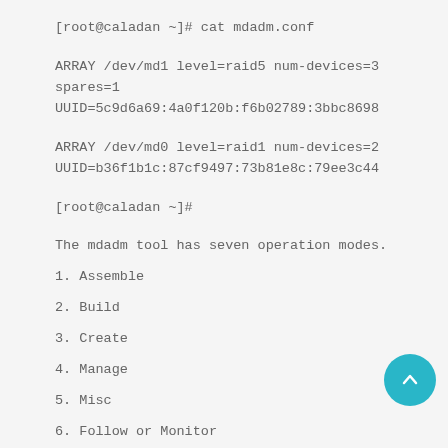[root@caladan ~]# cat mdadm.conf
ARRAY /dev/md1 level=raid5 num-devices=3 spares=1
UUID=5c9d6a69:4a0f120b:f6b02789:3bbc8698
ARRAY /dev/md0 level=raid1 num-devices=2
UUID=b36f1b1c:87cf9497:73b81e8c:79ee3c44
[root@caladan ~]#
The mdadm tool has seven operation modes.
1. Assemble
2. Build
3. Create
4. Manage
5. Misc
6. Follow or Monitor
7. Grow
A more detailed description of every major operation mode is